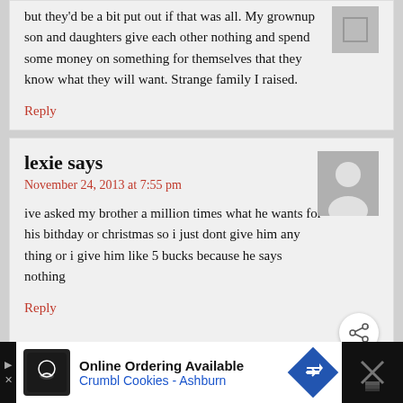but they'd be a bit put out if that was all. My grownup son and daughters give each other nothing and spend some money on something for themselves that they know what they will want. Strange family I raised.
Reply
lexie says
November 24, 2013 at 7:55 pm
ive asked my brother a million times what he wants for his bithday or christmas so i just dont give him any thing or i give him like 5 bucks because he says nothing
Reply
WHAT'S NEXT → Halloween Coat Hanger...